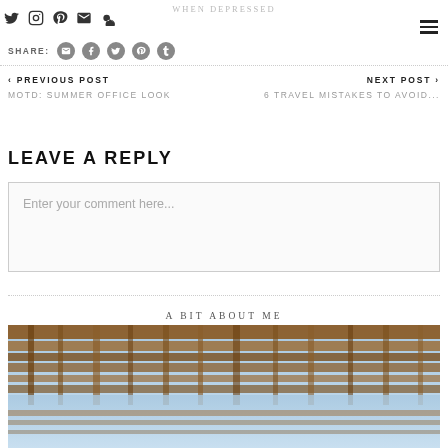WHEN DEPRESSED
SHARE: [email] [facebook] [twitter] [pinterest] [tumblr]
< PREVIOUS POST
MOTD: SUMMER OFFICE LOOK
NEXT POST >
6 TRAVEL MISTAKES TO AVOID...
LEAVE A REPLY
Enter your comment here...
A BIT ABOUT ME
[Figure (photo): A rustic wooden pergola or structure viewed from below against a blue sky]